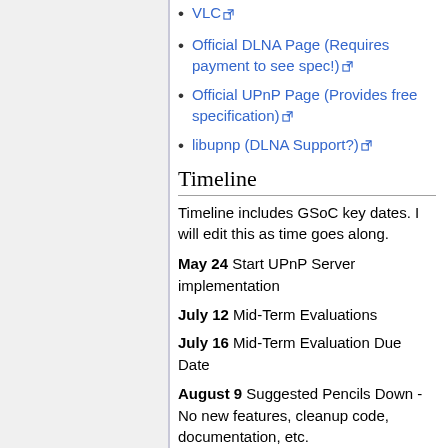VLC
Official DLNA Page (Requires payment to see spec!)
Official UPnP Page (Provides free specification)
libupnp (DLNA Support?)
Timeline
Timeline includes GSoC key dates. I will edit this as time goes along.
May 24 Start UPnP Server implementation
July 12 Mid-Term Evaluations
July 16 Mid-Term Evaluation Due Date
August 9 Suggested Pencils Down - No new features, cleanup code, documentation, etc.
August 16 Firm Pencils Down